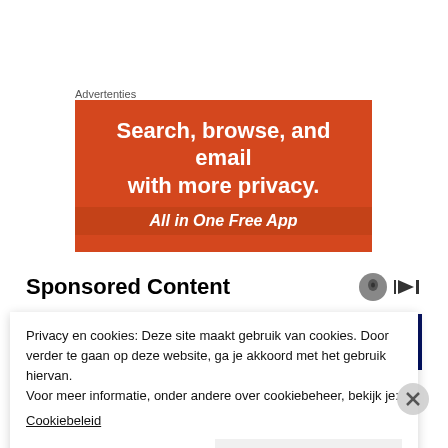Advertenties
[Figure (screenshot): Orange advertisement banner for a privacy app: 'Search, browse, and email with more privacy. All in One Free App']
Sponsored Content
[Figure (screenshot): Marvel-themed promotional banner with colorful superhero imagery]
Privacy en cookies: Deze site maakt gebruik van cookies. Door verder te gaan op deze website, ga je akkoord met het gebruik hiervan.
Voor meer informatie, onder andere over cookiebeheer, bekijk je:
Cookiebeleid
Sluiten en bevestigen